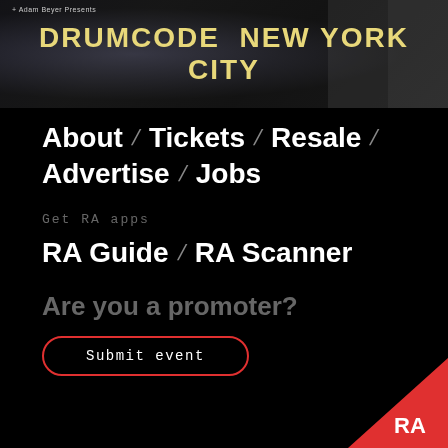[Figure (photo): Banner image for Drumcode New York City event with dark urban background and yellow text]
About / Tickets / Resale
Advertise / Jobs
Get RA apps
RA Guide / RA Scanner
Are you a promoter?
Submit event
[Figure (logo): RA (Resident Advisor) logo in white on red triangle corner]